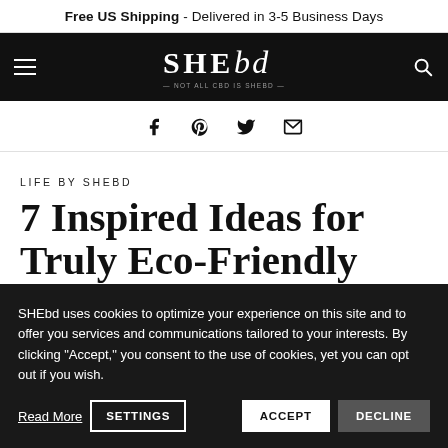Free US Shipping - Delivered in 3-5 Business Days
[Figure (logo): SHEbd logo on black navigation bar with hamburger menu icon on left and search icon on right. Tagline: NOT ALL CBD IS SHEbd]
[Figure (infographic): Social sharing icons row: Facebook, Pinterest, Twitter, Email]
LIFE BY SHEbd
7 Inspired Ideas for Truly Eco-Friendly
SHEbd uses cookies to optimize your experience on this site and to offer you services and communications tailored to your interests. By clicking "Accept," you consent to the use of cookies, yet you can opt out if you wish.
Read More  SETTINGS  ACCEPT  DECLINE